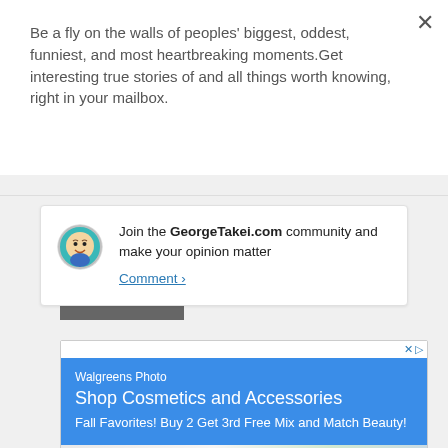Be a fly on the walls of peoples' biggest, oddest, funniest, and most heartbreaking moments.Get interesting true stories of and all things worth knowing, right in your mailbox.
Subscribe
Join the GeorgeTakei.com community and make your opinion matter
Comment >
[Figure (other): Walgreens Photo advertisement with blue background. Text reads: Walgreens Photo, Shop Cosmetics and Accessories, Fall Favorites! Buy 2 Get 3rd Free Mix and Match Beauty!]